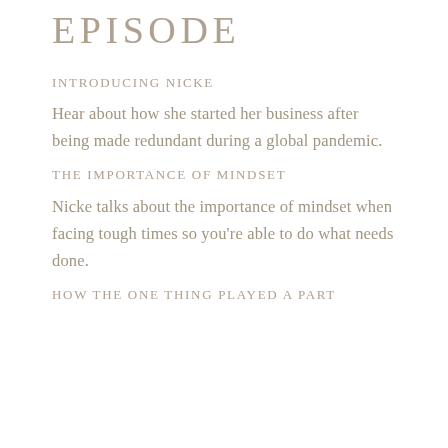EPISODE
INTRODUCING NICKE
Hear about how she started her business after being made redundant during a global pandemic.
THE IMPORTANCE OF MINDSET
Nicke talks about the importance of mindset when facing tough times so you're able to do what needs done.
HOW THE ONE THING PLAYED A PART